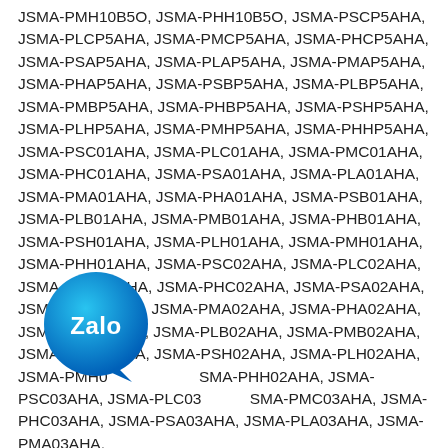JSMA-PMH10B5O, JSMA-PHH10B5O, JSMA-PSCP5AHA, JSMA-PLCP5AHA, JSMA-PMCP5AHA, JSMA-PHCP5AHA, JSMA-PSAP5AHA, JSMA-PLAP5AHA, JSMA-PMAP5AHA, JSMA-PHAP5AHA, JSMA-PSBP5AHA, JSMA-PLBP5AHA, JSMA-PMBP5AHA, JSMA-PHBP5AHA, JSMA-PSHP5AHA, JSMA-PLHP5AHA, JSMA-PMHP5AHA, JSMA-PHHP5AHA, JSMA-PSC01AHA, JSMA-PLC01AHA, JSMA-PMC01AHA, JSMA-PHC01AHA, JSMA-PSA01AHA, JSMA-PLA01AHA, JSMA-PMA01AHA, JSMA-PHA01AHA, JSMA-PSB01AHA, JSMA-PLB01AHA, JSMA-PMB01AHA, JSMA-PHB01AHA, JSMA-PSH01AHA, JSMA-PLH01AHA, JSMA-PMH01AHA, JSMA-PHH01AHA, JSMA-PSC02AHA, JSMA-PLC02AHA, JSMA-PMC02AHA, JSMA-PHC02AHA, JSMA-PSA02AHA, JSMA-PLA02AHA, JSMA-PMA02AHA, JSMA-PHA02AHA, JSMA-PSB02AHA, JSMA-PLB02AHA, JSMA-PMB02AHA, JSMA-PHB02AHA, JSMA-PSH02AHA, JSMA-PLH02AHA, JSMA-PMH02AHA, JSMA-PHH02AHA, JSMA-PSC03AHA, JSMA-PLC03AHA, JSMA-PMC03AHA, JSMA-PHC03AHA, JSMA-PSA03AHA, JSMA-PLA03AHA, JSMA-PMA03AHA
[Figure (logo): Zalo app logo overlay — circular teal/blue gradient badge with 'Zalo' text in white and a speech-bubble tail]